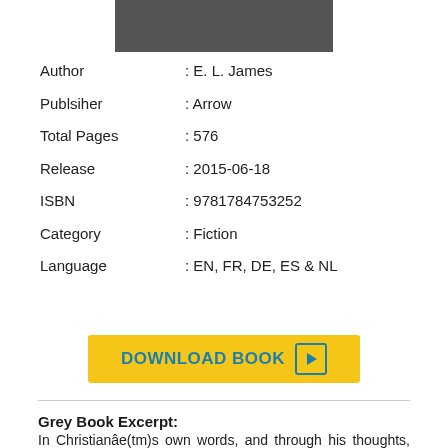[Figure (other): Book cover image placeholder (dark gray rectangle)]
Author : E. L. James
Publsiher : Arrow
Total Pages : 576
Release : 2015-06-18
ISBN : 9781784753252
Category : Fiction
Language : EN, FR, DE, ES & NL
[Figure (other): Yellow download button with text DOWNLOAD BOOK and play icon]
Grey Book Excerpt:
In Christianâe(tm)s own words, and through his thoughts, reflections, and dreams, E L James